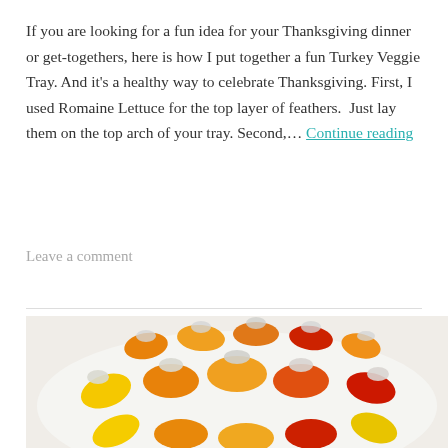If you are looking for a fun idea for your Thanksgiving dinner or get-togethers, here is how I put together a fun Turkey Veggie Tray. And it's a healthy way to celebrate Thanksgiving. First, I used Romaine Lettuce for the top layer of feathers.  Just lay them on the top arch of your tray. Second,... Continue reading
Leave a comment
[Figure (photo): A round white tray filled with colorful mini sweet peppers in orange, yellow, and red colors, arranged in a circular pattern with cream cheese or dip stuffed at their tops.]